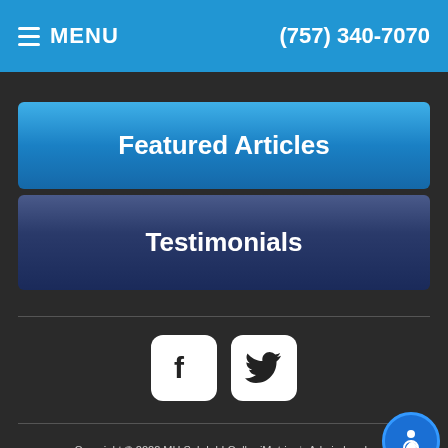MENU | (757) 340-7070
Featured Articles
Testimonials
[Figure (logo): Facebook and Twitter social media icons]
Copyright © 2022 MH Sub I, LLC dba iMatrix | Admin Log In | Site Map | Hipaa Policy | Privacy Policy | Terms Of